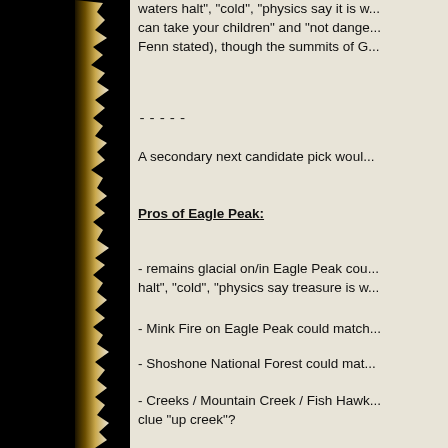waters halt", "cold", "physics say it is w... can take your children" and "not dange... Fenn stated), though the summits of G...
-----
A secondary next candidate pick woul...
Pros of Eagle Peak:
- remains glacial on/in Eagle Peak cou... halt", "cold", "physics say treasure is w...
- Mink Fire on Eagle Peak could match...
- Shoshone National Forest could mat...
- Creeks / Mountain Creek / Fish Hawk... clue "up creek"?
- EP can be accessed from outside Ye...
Cons of Eagle Peak:
- 15 mile hike or 25 km hike up/to Eag... trips from my car in one afternoon".